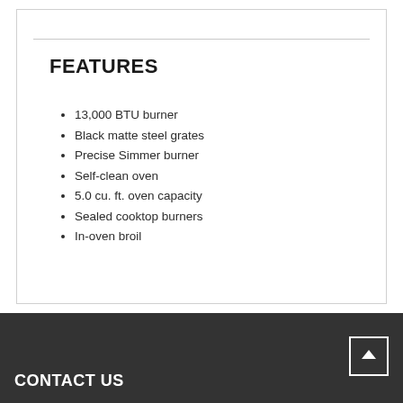FEATURES
13,000 BTU burner
Black matte steel grates
Precise Simmer burner
Self-clean oven
5.0 cu. ft. oven capacity
Sealed cooktop burners
In-oven broil
CONTACT US